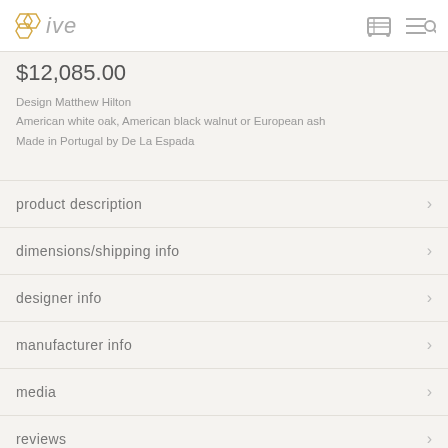hive [logo] [cart icon] [menu/search icon]
$12,085.00
Design Matthew Hilton
American white oak, American black walnut or European ash
Made in Portugal by De La Espada
product description
dimensions/shipping info
designer info
manufacturer info
media
reviews
[Figure (other): Grid of hexagonal color swatches in various wood and fabric tones — beige, tan, brown, dark brown, black, grey, cream, and reddish colors]